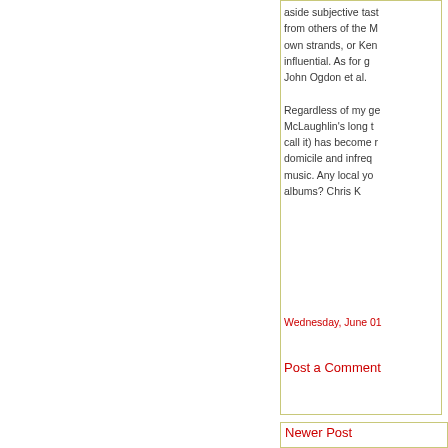aside subjective tast... from others of the M... own strands, or Ken... influential. As for g... John Ogdon et al.
Regardless of my ge... McLaughlin's long t... call it) has become r... domicile and infreq... music. Any local yo... albums? Chris K
Wednesday, June 01...
Post a Comment
Newer Post